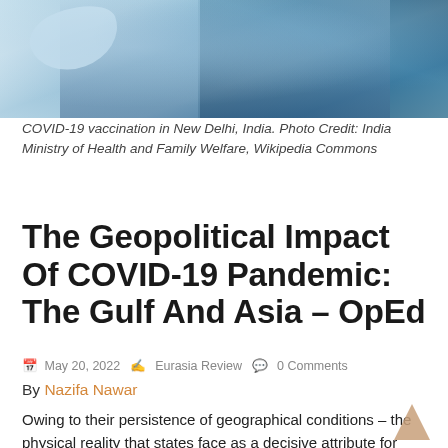[Figure (photo): COVID-19 vaccination scene in New Delhi, India — medical workers in blue protective gear/white coats administering vaccines]
COVID-19 vaccination in New Delhi, India. Photo Credit: India Ministry of Health and Family Welfare, Wikipedia Commons
The Geopolitical Impact Of COVID-19 Pandemic: The Gulf And Asia – OpEd
May 20, 2022   Eurasia Review   0 Comments
By Nazifa Nawar
Owing to their persistence of geographical conditions – the physical reality that states face as a decisive attribute for international relations